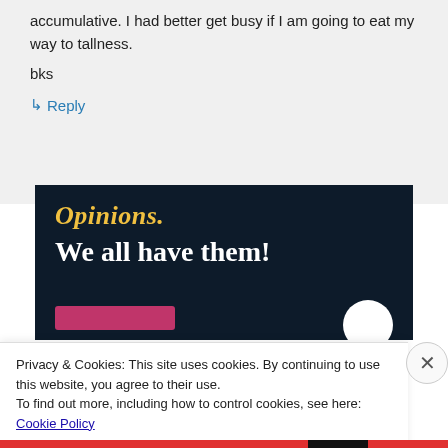accumulative. I had better get busy if I am going to eat my way to tallness.
bks
↳ Reply
[Figure (infographic): Dark navy advertisement banner with italic yellow text 'Opinions.' and bold white text 'We all have them!' with a pink button and white circle element]
Privacy & Cookies: This site uses cookies. By continuing to use this website, you agree to their use.
To find out more, including how to control cookies, see here: Cookie Policy
Close and accept